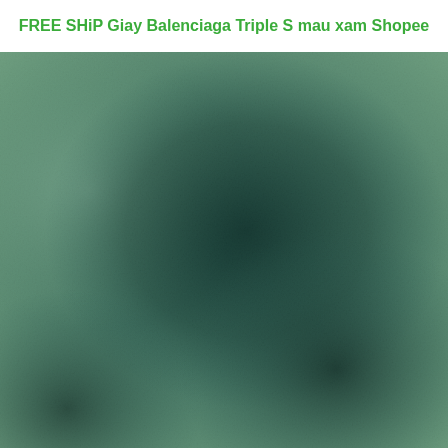FREE SHiP Giay Balenciaga Triple S mau xam Shopee
[Figure (photo): Close-up photo of a fabric or textile surface with muted green and dark teal tones, showing a blurred or out-of-focus texture with dark shadowy areas in the center and corners.]